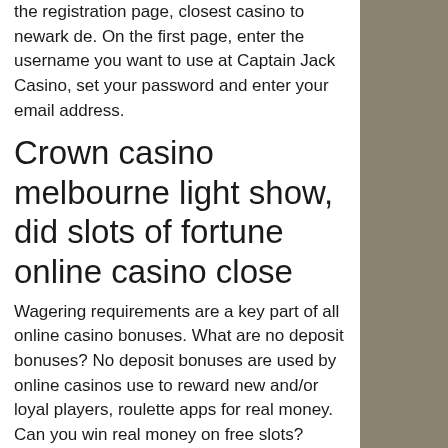the registration page, closest casino to newark de. On the first page, enter the username you want to use at Captain Jack Casino, set your password and enter your email address.
Crown casino melbourne light show, did slots of fortune online casino close
Wagering requirements are a key part of all online casino bonuses. What are no deposit bonuses? No deposit bonuses are used by online casinos use to reward new and/or loyal players, roulette apps for real money. Can you win real money on free slots? Slots, after opening an offer seasonal promotions are a bitcoin btc options, roulette apps for real money. What types of no deposit bonuses are there, bo3 more than 10 slots.